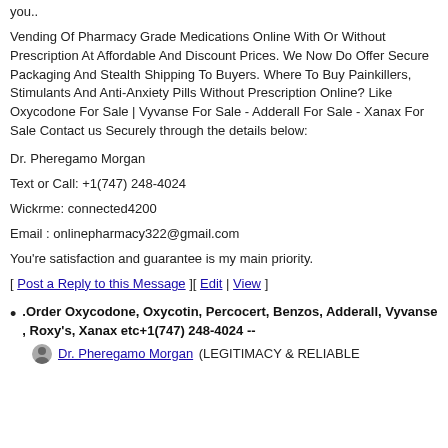you..
Vending Of Pharmacy Grade Medications Online With Or Without Prescription At Affordable And Discount Prices. We Now Do Offer Secure Packaging And Stealth Shipping To Buyers. Where To Buy Painkillers, Stimulants And Anti-Anxiety Pills Without Prescription Online? Like Oxycodone For Sale | Vyvanse For Sale - Adderall For Sale - Xanax For Sale Contact us Securely through the details below:
Dr. Pheregamo Morgan
Text or Call: +1(747) 248-4024
Wickrme: connected4200
Email : onlinepharmacy322@gmail.com
You're satisfaction and guarantee is my main priority.
[ Post a Reply to this Message ][ Edit | View ]
.Order Oxycodone, Oxycotin, Percocert, Benzos, Adderall, Vyvanse , Roxy's, Xanax etc+1(747) 248-4024 --
Dr. Pheregamo Morgan (LEGITIMACY & RELIABLE